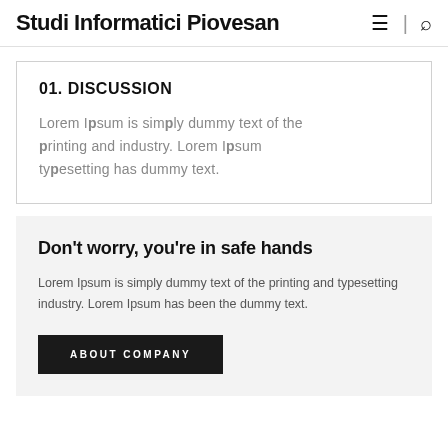Studi Informatici Piovesan
01. DISCUSSION
Lorem Ipsum is simply dummy text of the printing and industry. Lorem Ipsum typesetting has dummy text.
Don't worry, you're in safe hands
Lorem Ipsum is simply dummy text of the printing and typesetting industry. Lorem Ipsum has been the dummy text.
ABOUT COMPANY